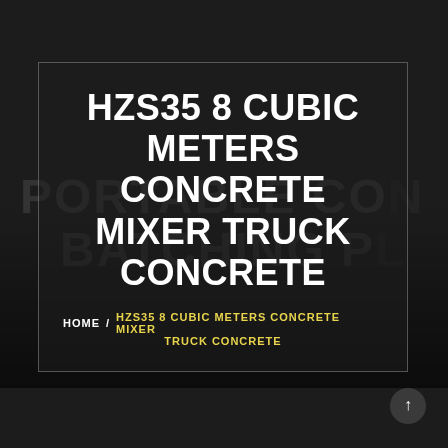[Figure (photo): Dark background webpage header with faint watermark text reading 'PORTABLE CO...' and 'BATCHING P...' with machinery silhouettes visible in the lower portion]
HZS35 8 CUBIC METERS CONCRETE MIXER TRUCK CONCRETE
HOME / HZS35 8 CUBIC METERS CONCRETE MIXER TRUCK CONCRETE